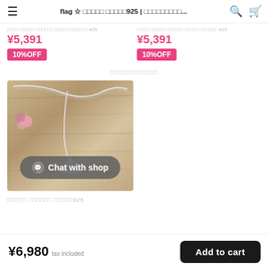flag ☆ □□□□□ □□□□□925 | □□□□□□□□□...
□□□□ □□□□□ □□□□□□ □□□□□ □□□□□□ ¥25
¥5,391
10%OFF
□□□□ □□□□□ □□□□□□ □□□□□ □□□□□□ ¥25
¥5,391
10%OFF
□□□□□□□□□□
[Figure (photo): Silver triangle pendant necklace with chain on wooden background with pink flower decoration]
Chat with shop
□□□□□ □□□□□□ □□□□□925
¥6,980 tax included
Add to cart